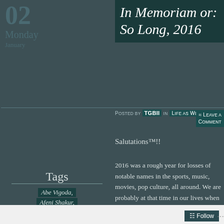02 Monday January
In Memoriam or: So Long, 2016
Posted by TGBII in Life as We Know It ≈ Leave a comment
Salutations™!!
Tags
Abe Vigoda,
Afeni Shakur,
Alan Rickman,
Alan Thicke,
Alan Young,
2016 was a rough year for losses of notable names in the sports, music, movies, pop culture, all around. We are probably at that time in our lives when those we admired, looked up to, watched, listened to and wanted to be like are passing on. Many of these people became popular at a time when